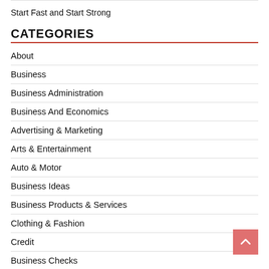Start Fast and Start Strong
CATEGORIES
About
Business
Business Administration
Business And Economics
Advertising & Marketing
Arts & Entertainment
Auto & Motor
Business Ideas
Business Products & Services
Clothing & Fashion
Credit
Business Checks